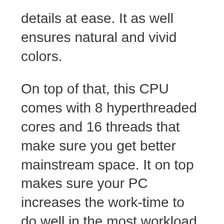details at ease. It as well ensures natural and vivid colors.
On top of that, this CPU comes with 8 hyperthreaded cores and 16 threads that make sure you get better mainstream space. It on top makes sure your PC increases the work-time to do well in the most workload. This thing also ensures your PC gets working than the i7 9900K model.